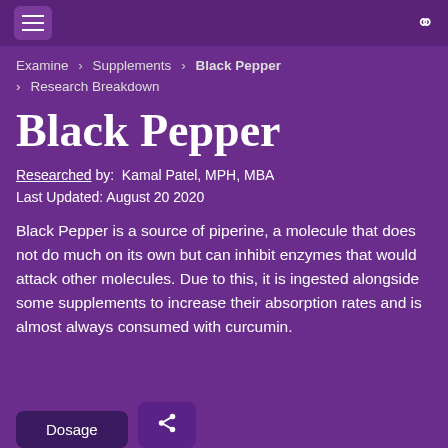Examine > Supplements > Black Pepper > Research Breakdown
Black Pepper
Researched by: Kamal Patel, MPH, MBA
Last Updated: August 20 2020
Black Pepper is a source of piperine, a molecule that does not do much on its own but can inhibit enzymes that would attack other molecules. Due to this, it is ingested alongside some supplements to increase their absorption rates and is almost always consumed with curcumin.